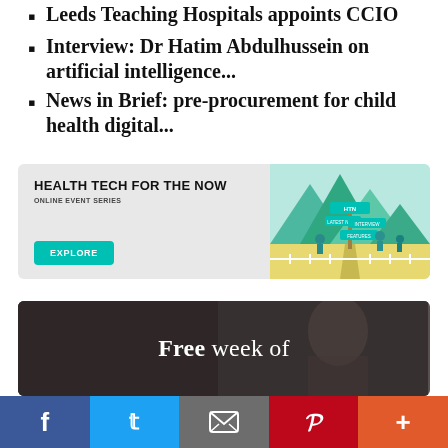Leeds Teaching Hospitals appoints CCIO
Interview: Dr Hatim Abdulhussein on artificial intelligence...
News in Brief: pre-procurement for child health digital...
[Figure (infographic): Health Tech For The Now promotional banner with illustration of cartoon figures at a crossroads with signposts labeled HTN, Latest News, Interview, Features. Teal Explore button.]
[Figure (photo): Dark background image of a woman with text overlay reading 'Free week of']
[Figure (infographic): Social sharing bar with Facebook, Twitter, Email, Pinterest, and More buttons]